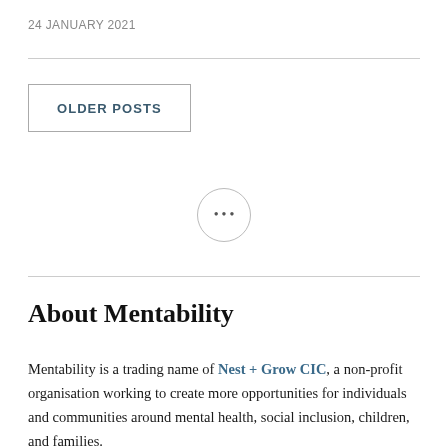24 JANUARY 2021
OLDER POSTS
About Mentability
Mentability is a trading name of Nest + Grow CIC, a non-profit organisation working to create more opportunities for individuals and communities around mental health, social inclusion, children, and families.